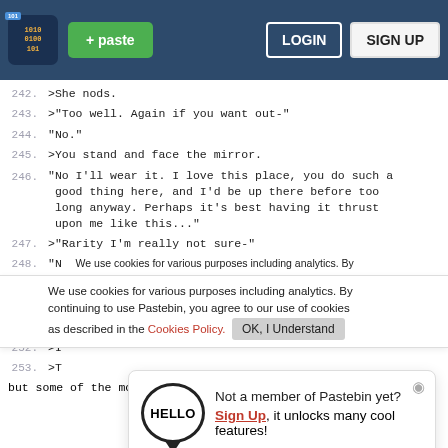[Figure (screenshot): Pastebin website navigation bar with logo, paste button, login and sign up buttons]
242.  >She nods.
243.  >"Too well. Again if you want out-"
244.  "No."
245.  >You stand and face the mirror.
246.  "No I'll wear it. I love this place, you do such a good thing here, and I'd be up there before too long anyway. Perhaps it's best having it thrust upon me like this..."
247.  >"Rarity I'm really not sure-"
248.  "N  [cookie notice partial]
249.  >P  [cookie notice partial]
250.  >Face your demons, Rarity.
251.
252.  >I
253.  >T
but some of the more stretchy materials make up
We use cookies for various purposes including analytics. By continuing to use Pastebin, you agree to our use of cookies as described in the Cookies Policy. OK, I Understand
Not a member of Pastebin yet? Sign Up, it unlocks many cool features!